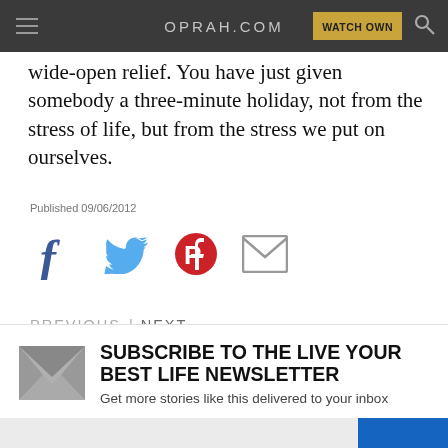OPRAH.COM
wide-open relief. You have just given somebody a three-minute holiday, not from the stress of life, but from the stress we put on ourselves.
Published 09/06/2012
[Figure (infographic): Social sharing icons: Facebook, Twitter, Pinterest, Email]
PREVIOUS | NEXT
SUBSCRIBE TO THE LIVE YOUR BEST LIFE NEWSLETTER
Get more stories like this delivered to your inbox